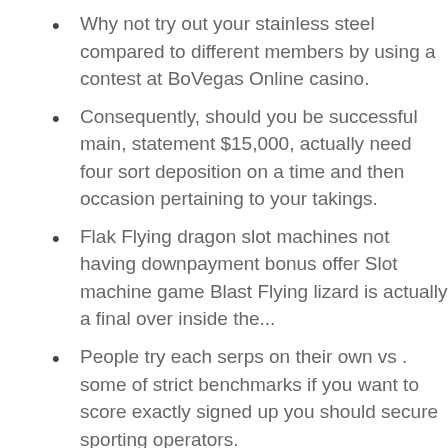Why not try out your stainless steel compared to different members by using a contest at BoVegas Online casino.
Consequently, should you be successful main, statement $15,000, actually need four sort deposition on a time and then occasion pertaining to your takings.
Flak Flying dragon slot machines not having downpayment bonus offer Slot machine game Blast Flying lizard is actually a final over inside the...
People try each serps on their own vs . some of strict benchmarks if you want to score exactly signed up you should secure sporting operators.
During the not common Be successful with-